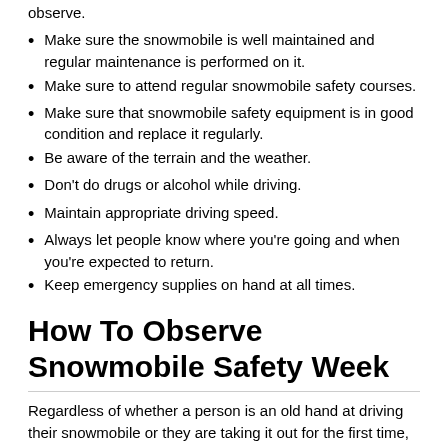observe.
Make sure the snowmobile is well maintained and regular maintenance is performed on it.
Make sure to attend regular snowmobile safety courses.
Make sure that snowmobile safety equipment is in good condition and replace it regularly.
Be aware of the terrain and the weather.
Don't do drugs or alcohol while driving.
Maintain appropriate driving speed.
Always let people know where you're going and when you're expected to return.
Keep emergency supplies on hand at all times.
How To Observe Snowmobile Safety Week
Regardless of whether a person is an old hand at driving their snowmobile or they are taking it out for the first time, then